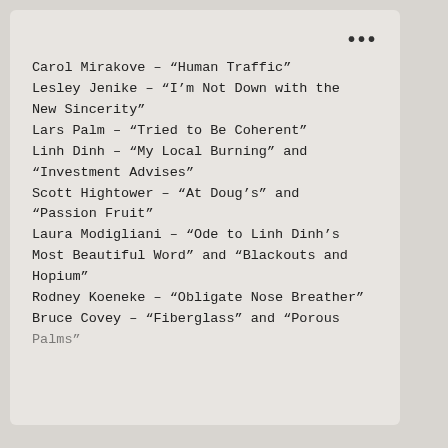Carol Mirakove – “Human Traffic”
Lesley Jenike – “I’m Not Down with the New Sincerity”
Lars Palm – “Tried to Be Coherent”
Linh Dinh – “My Local Burning” and “Investment Advises”
Scott Hightower – “At Doug’s” and “Passion Fruit”
Laura Modigliani – “Ode to Linh Dinh’s Most Beautiful Word” and “Blackouts and Hopium”
Rodney Koeneke – “Obligate Nose Breather”
Bruce Covey – “Fiberglass” and “Porous Palms”